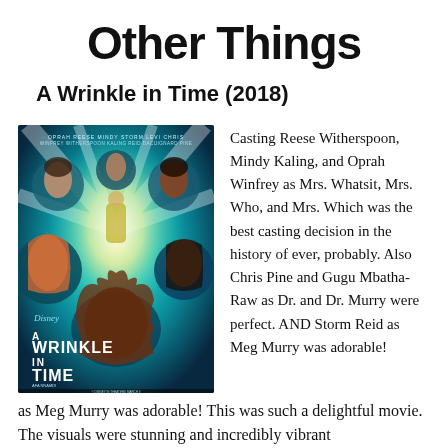Other Things
A Wrinkle in Time (2018)
[Figure (photo): Movie poster for Disney's A Wrinkle in Time (2018) featuring cast members' faces arranged around a central light burst, with the movie title at the bottom]
Casting Reese Witherspoon, Mindy Kaling, and Oprah Winfrey as Mrs. Whatsit, Mrs. Who, and Mrs. Which was the best casting decision in the history of ever, probably. Also Chris Pine and Gugu Mbatha-Raw as Dr. and Dr. Murry were perfect. AND Storm Reid as Meg Murry was adorable! This was such a delightful movie. The visuals were stunning and incredibly vibrant